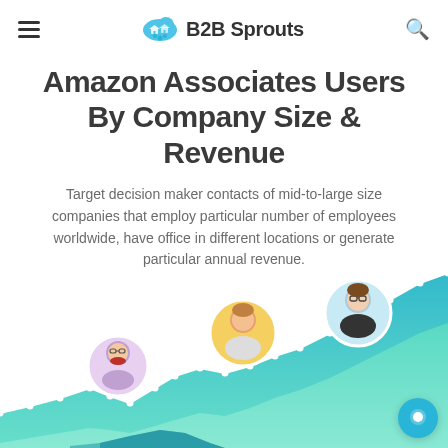B2B Sprouts
Amazon Associates Users By Company Size & Revenue
Target decision maker contacts of mid-to-large size companies that employ particular number of employees worldwide, have office in different locations or generate particular annual revenue.
[Figure (illustration): Decorative area chart with teal/blue gradient fill, white line with dot markers, and three floating circular avatar illustrations of business people positioned above the chart.]